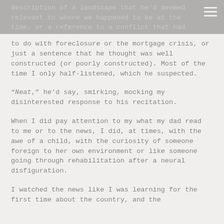description of a landscape that he'd deemed relevant to where we happened to be at the time, or a reference to a conflict that had
to do with foreclosure or the mortgage crisis, or just a sentence that he thought was well constructed (or poorly constructed). Most of the time I only half-listened, which he suspected.
“Neat,” he’d say, smirking, mocking my disinterested response to his recitation.
When I did pay attention to my what my dad read to me or to the news, I did, at times, with the awe of a child, with the curiosity of someone foreign to her own environment or like someone going through rehabilitation after a neural disfiguration.
I watched the news like I was learning for the first time about the country, and the